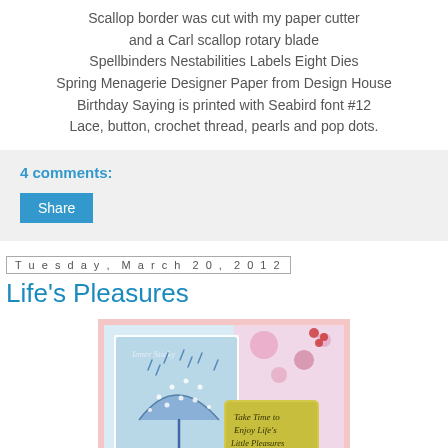Scallop border was cut with my paper cutter and a Carl scallop rotary blade
Spellbinders Nestabilities Labels Eight Dies
Spring Menagerie Designer Paper from Design House
Birthday Saying is printed with Seabird font #12
Lace, button, crochet thread, pearls and pop dots.
4 comments:
Share
Tuesday, March 20, 2012
Life's Pleasures
[Figure (photo): Handmade greeting card featuring a blue polka-dot umbrella with rain drops, on a light blue background with floral patterned paper, and a yellow tag reading 'Take Time to Enjoy Life's Little Pleasures'. Watermark reads 'Inner Sticky'.]